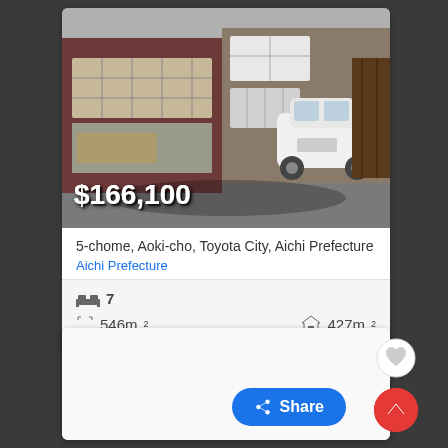[Figure (photo): Exterior photo of a Japanese residential house with a white Toyota Prius parked in the driveway. Price overlay shows $166,100.]
$166,100
5-chome, Aoki-cho, Toyota City, Aichi Prefecture
Aichi Prefecture
7
546m²
427m²
[Figure (screenshot): Partial view of a second real estate listing card (bottom portion visible)]
Share